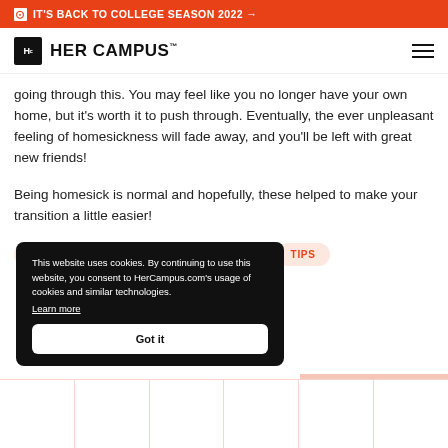IT'S BACK TO COLLEGE SEASON 2022 →
HER CAMPUS
…going through this. You may feel like you no longer have your own home, but it's worth it to push through. Eventually, the ever unpleasant feeling of homesickness will fade away, and you'll be left with great new friends!
Being homesick is normal and hopefully, these helped to make your transition a little easier!
FRESHMAN
HOME
HOMESICK
TIPS
This website uses cookies. By continuing to use this website, you consent to HerCampus.com's usage of cookies and similar technologies. Learn more
Got it